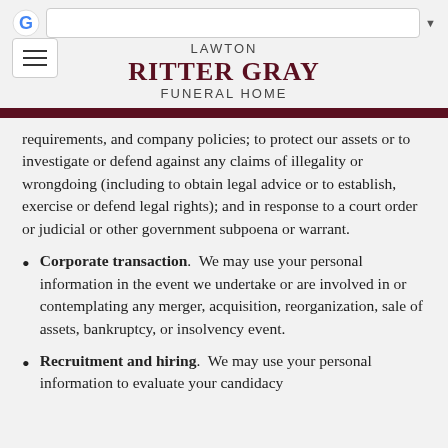LAWTON RITTER GRAY FUNERAL HOME
requirements, and company policies; to protect our assets or to investigate or defend against any claims of illegality or wrongdoing (including to obtain legal advice or to establish, exercise or defend legal rights); and in response to a court order or judicial or other government subpoena or warrant.
Corporate transaction. We may use your personal information in the event we undertake or are involved in or contemplating any merger, acquisition, reorganization, sale of assets, bankruptcy, or insolvency event.
Recruitment and hiring. We may use your personal information to evaluate your candidacy